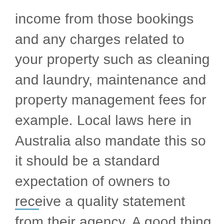income from those bookings and any charges related to your property such as cleaning and laundry, maintenance and property management fees for example. Local laws here in Australia also mandate this so it should be a standard expectation of owners to receive a quality statement from their agency. A good thing to do is to ask to see an example statement that you could expect to receive.
—